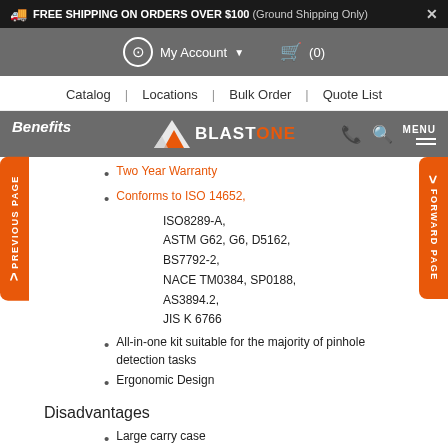FREE SHIPPING ON ORDERS OVER $100 (Ground Shipping Only)
My Account (0)
Catalog | Locations | Bulk Order | Quote List
Benefits
Two Year Warranty
Conforms to ISO 14652, ISO8289-A, ASTM G62, G6, D5162, BS7792-2, NACE TM0384, SP0188, AS3894.2, JIS K 6766
All-in-one kit suitable for the majority of pinhole detection tasks
Ergonomic Design
Disadvantages
Large carry case